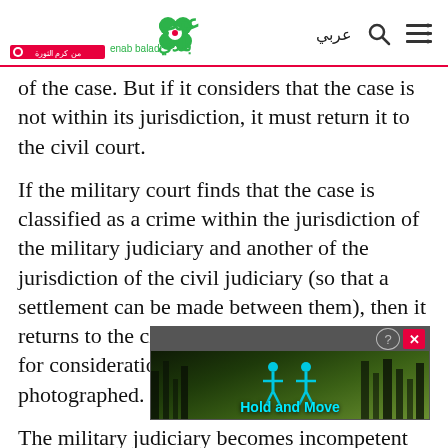Enab Baladi — عربي
of the case. But if it considers that the case is not within its jurisdiction, it must return it to the civil court.
If the military court finds that the case is classified as a crime within the jurisdiction of the military judiciary and another of the jurisdiction of the civil judiciary (so that a settlement can be made between them), then it returns to the civil judiciary what belongs to it for consideration after the case file has been photographed.
The military judiciary becomes incompetent to consider... event that the military judiciary seized a case containing
[Figure (screenshot): Advertisement overlay with 'Hold and Move' text and outdoor/forest background image with two person icons]